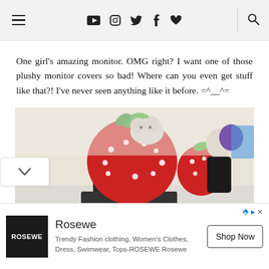Navigation bar with hamburger menu, social icons (YouTube, Instagram, Twitter, Facebook, Heart, Search)
One girl's amazing monitor. OMG right? I want one of those plushy monitor covers so bad! Where can you even get stuff like that?! I've never seen anything like it before. =^__^=
[Figure (photo): A computer monitor with a large red strawberry plushy cover with white polka dots and a green stem, sitting on a desk in an office environment. A person is visible in the background.]
[Figure (infographic): Advertisement banner for Rosewe fashion brand showing logo, brand name, tagline 'Trendy Fashion clothing, Women's Clothes, Dress, Swimwear, Tops-ROSEWE Rosewe' and a 'Shop Now' button.]